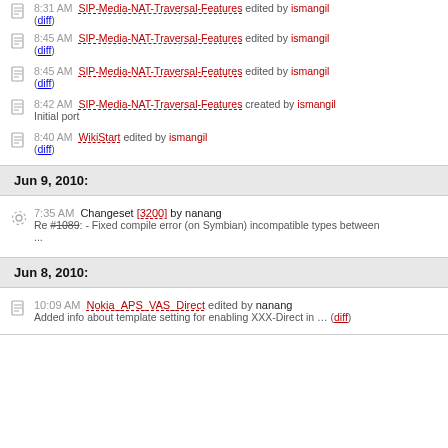8:31 AM SIP-Media-NAT-Traversal-Features edited by ismangil (diff)
8:45 AM SIP-Media-NAT-Traversal-Features edited by ismangil (diff)
8:45 AM SIP-Media-NAT-Traversal-Features edited by ismangil (diff)
8:42 AM SIP-Media-NAT-Traversal-Features created by ismangil - Initial port
8:40 AM WikiStart edited by ismangil (diff)
Jun 9, 2010:
7:35 AM Changeset [3200] by nanang - Re #1089: - Fixed compile error (on Symbian) incompatible types between ...
Jun 8, 2010:
10:09 AM Nokia_APS_VAS_Direct edited by nanang - Added info about template setting for enabling XXX-Direct in ... (diff)